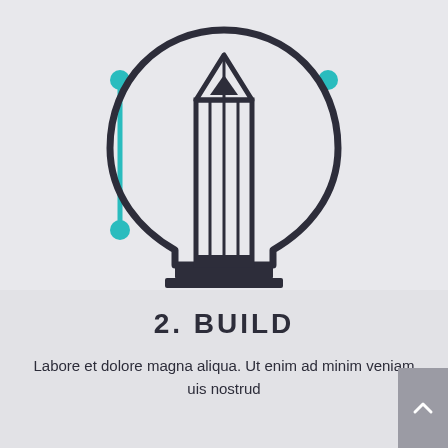[Figure (illustration): Icon of a light bulb with a pencil inside, drawn in dark navy outline style. Two teal/cyan vertical lines with circular endpoints extend from the left side of the bulb, suggesting a pen tool or design metaphor.]
2.  BUILD
Labore et dolore magna aliqua. Ut enim ad minim veniam uis nostrud